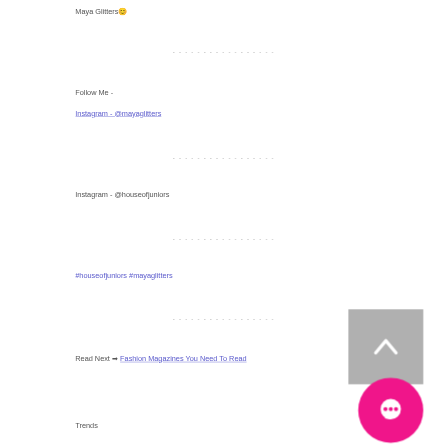Maya Glitters 😊
- - - - - - - - - - - - - - - - -
Follow Me -
Instagram - @mayaglitters
- - - - - - - - - - - - - - - - -
Instagram - @houseofjuniors
- - - - - - - - - - - - - - - - -
#houseofjuniors #mayaglitters
- - - - - - - - - - - - - - - - -
Read Next ➡ Fashion Magazines You Need To Read
Trends